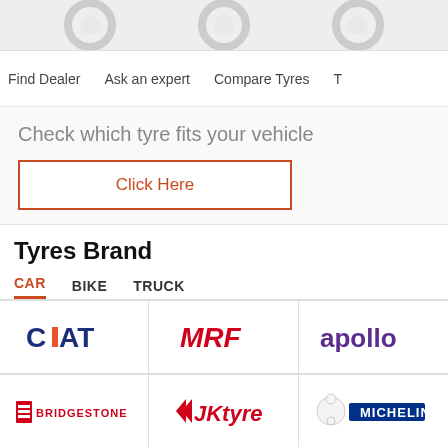[Figure (illustration): Top decorative area with tyre brand circular logos/icons on gray background]
Find Dealer   Ask an expert   Compare Tyres   T...
Check which tyre fits your vehicle
Click Here
Tyres Brand
CAR
BIKE
TRUCK
[Figure (logo): CEAT tyre brand logo - dark blue text with orange bar in C]
[Figure (logo): MRF tyre brand logo - red bold italic text]
[Figure (logo): apollo tyre brand logo - purple bold text]
[Figure (logo): BRIDGESTONE tyre brand logo - red text with bridge icon]
[Figure (logo): JK TYRE brand logo - red italic text with chevron]
[Figure (logo): MICHELIN tyre brand logo - blue background white text with Bibendum figure]